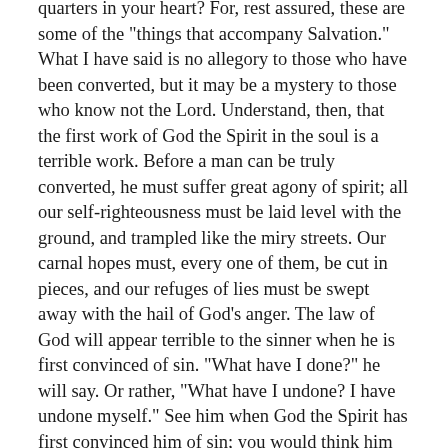quarters in your heart? For, rest assured, these are some of the "things that accompany Salvation." What I have said is no allegory to those who have been converted, but it may be a mystery to those who know not the Lord. Understand, then, that the first work of God the Spirit in the soul is a terrible work. Before a man can be truly converted, he must suffer great agony of spirit; all our self-righteousness must be laid level with the ground, and trampled like the miry streets. Our carnal hopes must, every one of them, be cut in pieces, and our refuges of lies must be swept away with the hail of God's anger. The law of God will appear terrible to the sinner when he is first convinced of sin. "What have I done?" he will say. Or rather, "What have I undone? I have undone myself." See him when God the Spirit has first convinced him of sin; you would think him mad; he is thought to be mad by his worldly companions. He weeps lay and night, tears become his